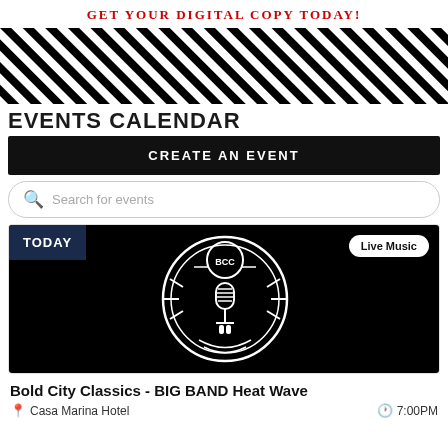GET YOUR DIGITAL COPY TODAY!
[Figure (illustration): Diagonal black and white hatched stripe banner pattern]
EVENTS CALENDAR
CREATE AN EVENT
Search for events
[Figure (photo): Black background with BCC circular logo design. TODAY badge in upper left, Live Music badge in upper right.]
Bold City Classics - BIG BAND Heat Wave
Casa Marina Hotel   7:00PM